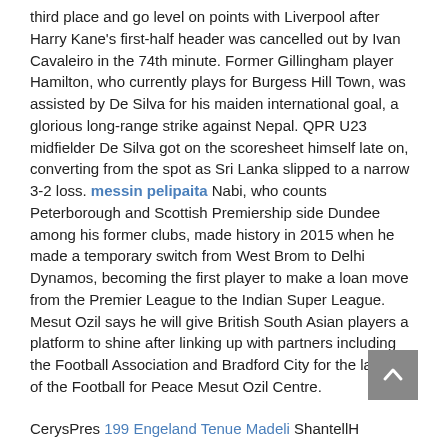third place and go level on points with Liverpool after Harry Kane's first-half header was cancelled out by Ivan Cavaleiro in the 74th minute. Former Gillingham player Hamilton, who currently plays for Burgess Hill Town, was assisted by De Silva for his maiden international goal, a glorious long-range strike against Nepal. QPR U23 midfielder De Silva got on the scoresheet himself late on, converting from the spot as Sri Lanka slipped to a narrow 3-2 loss. messin pelipaita Nabi, who counts Peterborough and Scottish Premiership side Dundee among his former clubs, made history in 2015 when he made a temporary switch from West Brom to Delhi Dynamos, becoming the first player to make a loan move from the Premier League to the Indian Super League. Mesut Ozil says he will give British South Asian players a platform to shine after linking up with partners including the Football Association and Bradford City for the launch of the Football for Peace Mesut Ozil Centre.
CerysPres 199 Engeland Tenue Madeli ShantellH
KaitlynFo 729 Sverige Tröja LanQqo Valentina
BernardBr sverige tröja 2022 SoonooTqk